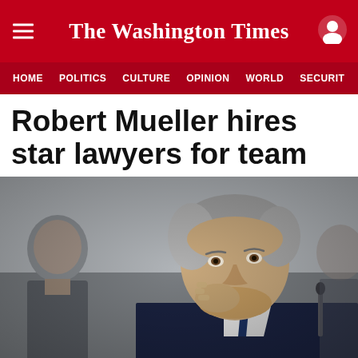The Washington Times
HOME  POLITICS  CULTURE  OPINION  WORLD  SECURITY
Robert Mueller hires star lawyers for team
[Figure (photo): A man in a dark suit with grey hair, resting his chin on his hand, looking upward and to the side, seated at what appears to be a congressional hearing. Other individuals are blurred in the background.]